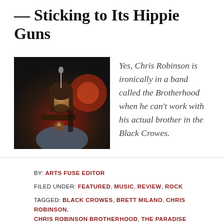— Sticking to Its Hippie Guns
[Figure (photo): Photo of Chris Robinson performing on stage, singing into a microphone while playing guitar, with stage lighting in background]
Yes, Chris Robinson is ironically in a band called the Brotherhood when he can't work with his actual brother in the Black Crowes.
BY: ARTS FUSE EDITOR
FILED UNDER: FEATURED, MUSIC, REVIEW, ROCK
TAGGED: BLACK CROWES, BRETT MILANO, CHRIS ROBINSON, CHRIS ROBINSON BROTHERHOOD, THE PARADISE
SEARCH